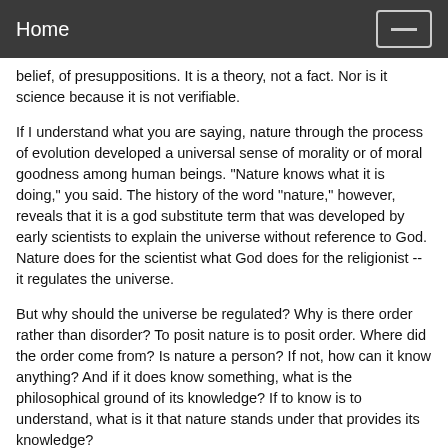Home
belief, of presuppositions. It is a theory, not a fact. Nor is it science because it is not verifiable.
If I understand what you are saying, nature through the process of evolution developed a universal sense of morality or of moral goodness among human beings. "Nature knows what it is doing," you said. The history of the word "nature," however, reveals that it is a god substitute term that was developed by early scientists to explain the universe without reference to God. Nature does for the scientist what God does for the religionist -- it regulates the universe.
But why should the universe be regulated? Why is there order rather than disorder? To posit nature is to posit order. Where did the order come from? Is nature a person? If not, how can it know anything? And if it does know something, what is the philosophical ground of its knowledge? If to know is to understand, what is it that nature stands under that provides its knowledge?
You have said that studies show "people around the